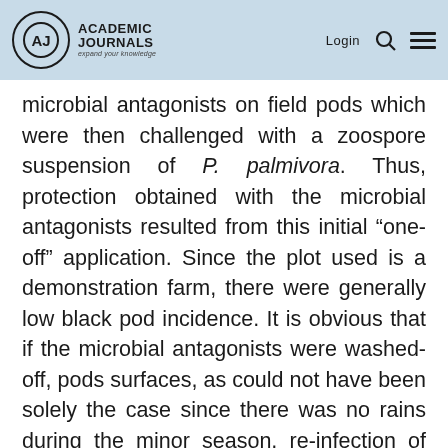Academic Journals — expand your knowledge | Login
microbial antagonists on field pods which were then challenged with a zoospore suspension of P. palmivora. Thus, protection obtained with the microbial antagonists resulted from this initial “one-off” application. Since the plot used is a demonstration farm, there were generally low black pod incidence. It is obvious that if the microbial antagonists were washed-off, pods surfaces, as could not have been solely the case since there was no rains during the minor season, re-infection of the pods would be low. This experiment, therefore, needs to be repeated in hot spot areas, with repeated application of the